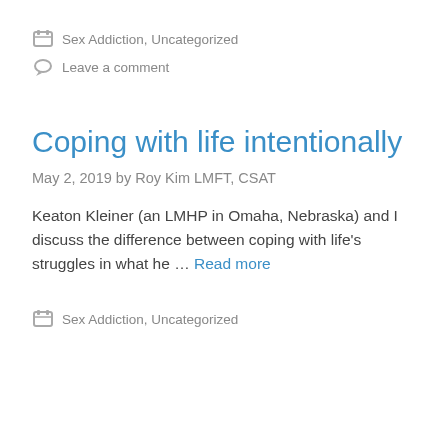Sex Addiction, Uncategorized
Leave a comment
Coping with life intentionally
May 2, 2019 by Roy Kim LMFT, CSAT
Keaton Kleiner (an LMHP in Omaha, Nebraska) and I discuss the difference between coping with life's struggles in what he … Read more
Sex Addiction, Uncategorized